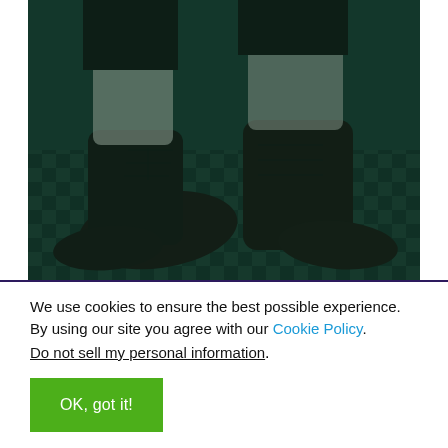[Figure (photo): Close-up photo of dark leather shoes on a green-tinted checkered floor, with a dark green color cast over the entire image.]
We use cookies to ensure the best possible experience. By using our site you agree with our Cookie Policy. Do not sell my personal information.
OK, got it!